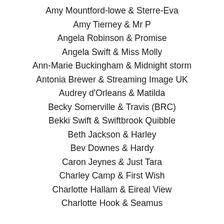Amy Mountford-lowe & Sterre-Eva
Amy Tierney & Mr P
Angela Robinson & Promise
Angela Swift & Miss Molly
Ann-Marie Buckingham & Midnight storm
Antonia Brewer & Streaming Image UK
Audrey d'Orleans & Matilda
Becky Somerville & Travis (BRC)
Bekki Swift & Swiftbrook Quibble
Beth Jackson & Harley
Bev Downes & Hardy
Caron Jeynes & Just Tara
Charley Camp & First Wish
Charlotte Hallam & Eireal View
Charlotte Hook & Seamus